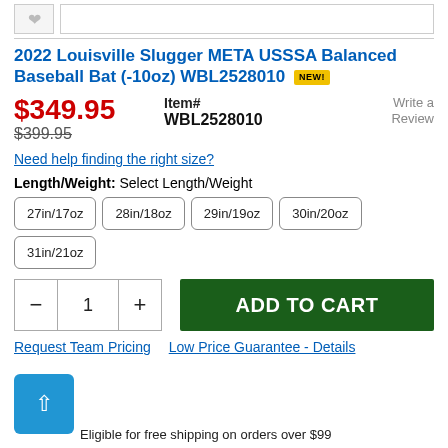2022 Louisville Slugger META USSSA Balanced Baseball Bat (-10oz) WBL2528010 NEW!
$349.95 $399.95
Item# WBL2528010
Write a Review
Need help finding the right size?
Length/Weight: Select Length/Weight
27in/17oz
28in/18oz
29in/19oz
30in/20oz
31in/21oz
1
ADD TO CART
Request Team Pricing   Low Price Guarantee - Details
Eligible for free shipping on orders over $99